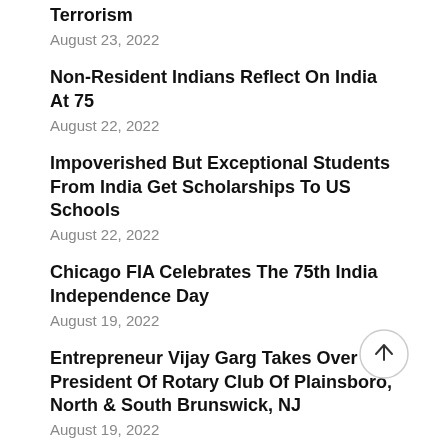Terrorism
August 23, 2022
Non-Resident Indians Reflect On India At 75
August 22, 2022
Impoverished But Exceptional Students From India Get Scholarships To US Schools
August 22, 2022
Chicago FIA Celebrates The 75th India Independence Day
August 19, 2022
Entrepreneur Vijay Garg Takes Over As President Of Rotary Club Of Plainsboro, North & South Brunswick, NJ
August 19, 2022
75 Years After India's Independence, A Lost Generation Recovers Its Hindu Faith